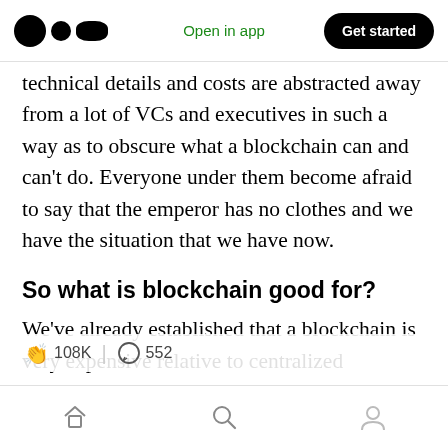Open in app | Get started
technical details and costs are abstracted away from a lot of VCs and executives in such a way as to obscure what a blockchain can and can't do. Everyone under them become afraid to say that the emperor has no clothes and we have the situation that we have now.
So what is blockchain good for?
We've already established that a blockchain is very expensive relative to centralized databases. So the only rea [108K | 552] ing a blockchain is to decentralize. That is, remove the
Home | Search | Profile